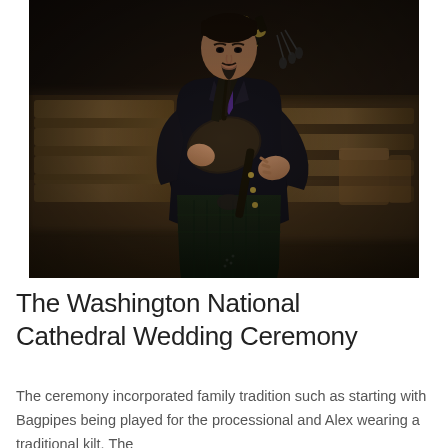[Figure (photo): A man in traditional Scottish attire — dark jacket and tartan kilt — playing bagpipes inside what appears to be Washington National Cathedral. Wooden pews are visible in the background. The man has a goatee and is holding the bagpipe chanter, with the drone pipes resting on his shoulder.]
The Washington National Cathedral Wedding Ceremony
The ceremony incorporated family tradition such as starting with Bagpipes being played for the processional and Alex wearing a traditional kilt. The